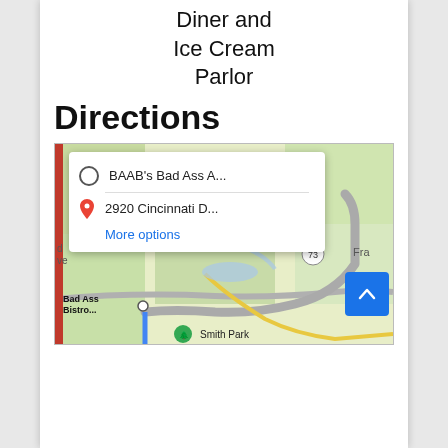Diner and Ice Cream Parlor
Directions
[Figure (map): Google Maps screenshot showing directions from BAAB's Bad Ass A... to 2920 Cincinnati D..., with a route overlay. A popup shows 'BAAB's Bad Ass A...' origin and '2920 Cincinnati D...' destination with a 'More options' link. The map shows roads, green areas, and a route labeled near road 73. 'Bad Ass Bistro...' and 'Smith Park' labels visible.]